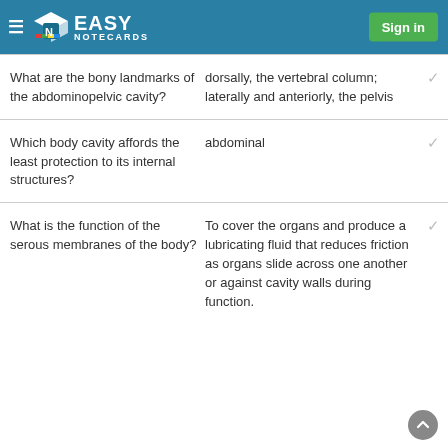Easy Notecards — Sign in
Q: What are the bony landmarks of the abdominopelvic cavity? A: dorsally, the vertebral column; laterally and anteriorly, the pelvis
Q: Which body cavity affords the least protection to its internal structures? A: abdominal
Q: What is the function of the serous membranes of the body? A: To cover the organs and produce a lubricating fluid that reduces friction as organs slide across one another or against cavity walls during function.